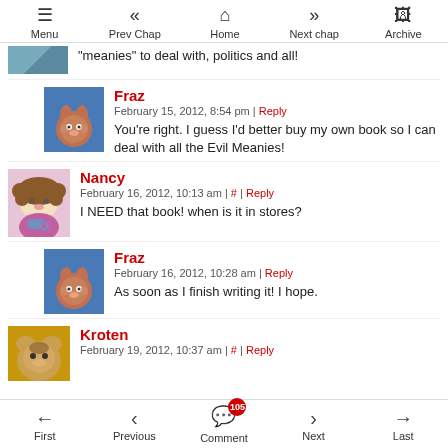Menu | Prev Chap | Home | Next chap | Archive
“meanies” to deal with, politics and all!
Fraz
February 15, 2012, 8:54 pm | Reply
You’re right. I guess I’d better buy my own book so I can deal with all the Evil Meanies!
Nancy
February 16, 2012, 10:13 am | # | Reply
I NEED that book! when is it in stores?
Fraz
February 16, 2012, 10:28 am | Reply
As soon as I finish writing it! I hope.
Kroten
February 19, 2012, 10:37 am | # | Reply
First | Previous | Comment (105) | Next | Last